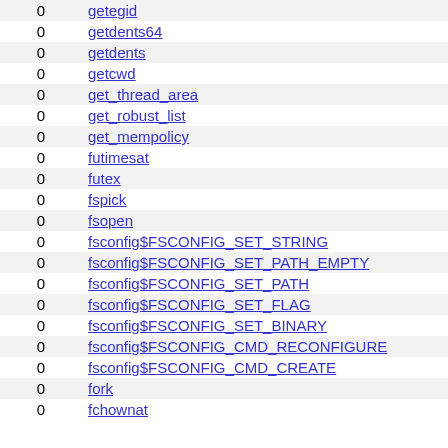| count | syscall |
| --- | --- |
| 0 | getegid |
| 0 | getdents64 |
| 0 | getdents |
| 0 | getcwd |
| 0 | get_thread_area |
| 0 | get_robust_list |
| 0 | get_mempolicy |
| 0 | futimesat |
| 0 | futex |
| 0 | fspick |
| 0 | fsopen |
| 0 | fsconfig$FSCONFIG_SET_STRING |
| 0 | fsconfig$FSCONFIG_SET_PATH_EMPTY |
| 0 | fsconfig$FSCONFIG_SET_PATH |
| 0 | fsconfig$FSCONFIG_SET_FLAG |
| 0 | fsconfig$FSCONFIG_SET_BINARY |
| 0 | fsconfig$FSCONFIG_CMD_RECONFIGURE |
| 0 | fsconfig$FSCONFIG_CMD_CREATE |
| 0 | fork |
| 0 | fchownat |